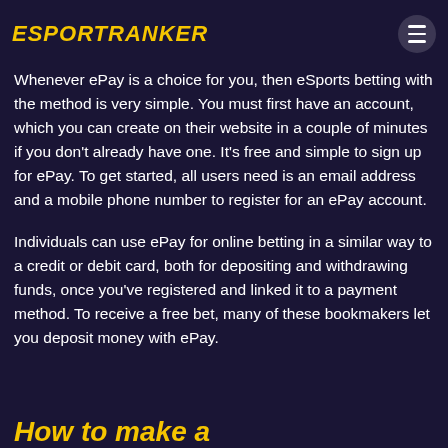Using ePay online bookmakers
ESPORTRANKER
Whenever ePay is a choice for you, then eSports betting with the method is very simple. You must first have an account, which you can create on their website in a couple of minutes if you don't already have one. It's free and simple to sign up for ePay. To get started, all users need is an email address and a mobile phone number to register for an ePay account.
Individuals can use ePay for online betting in a similar way to a credit or debit card, both for depositing and withdrawing funds, once you've registered and linked it to a payment method. To receive a free bet, many of these bookmakers let you deposit money with ePay.
How to make a